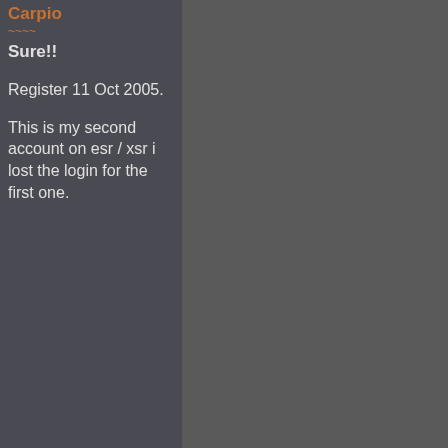Carpio
Sure!!
Register 11 Oct 2005.
This is my second account on esr / xsr i lost the login for the first one.
Edited by Carpio at 05:59 CDT, 21 October 2021
<< Comment #74 @ 00:13 CDT, 25 October 2021 >>
(Link, Reply)